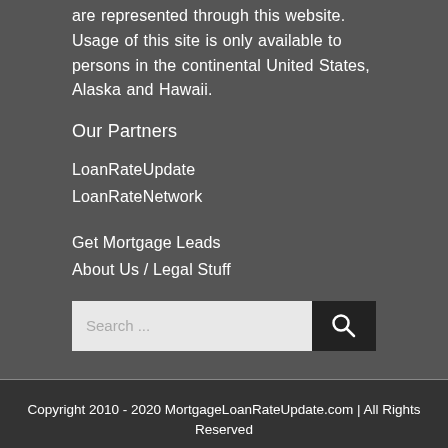are represented through this website. Usage of this site is only available to persons in the continental United States, Alaska and Hawaii.
Our Partners
LoanRateUpdate
LoanRateNetwork
Get Mortgage Leads
About Us / Legal Stuff
[Figure (other): Search input box with text 'Search ...' and a dark search button with magnifying glass icon]
Copyright 2010 - 2020 MortgageLoanRateUpdate.com | All Rights Reserved
The information contained in this website is for general information purposes only. We make no representations or warranties of any kind, expressed or implied, about the completeness, accuracy, or reliability of the information on this website.